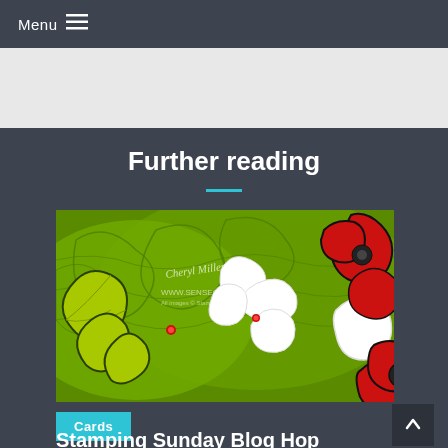Menu ≡
Further reading
[Figure (photo): Close-up of handmade cards featuring red poppy flowers and green embossed leaf background with white die-cut botanical elements. Website watermark reads www.senseofwhimsy.com.au]
Cards
Stamping Sunday Blog Hop